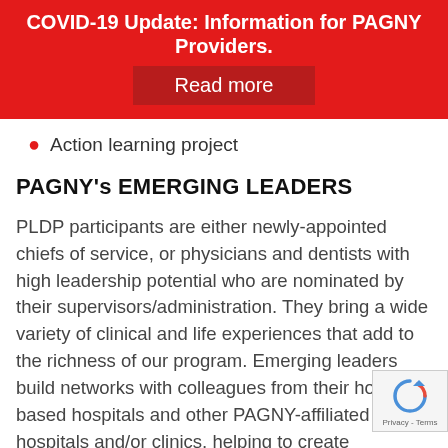COVID-19 Update: Information for PAGNY Providers.
Read more
Action learning project
PAGNY's EMERGING LEADERS
PLDP participants are either newly-appointed chiefs of service, or physicians and dentists with high leadership potential who are nominated by their supervisors/administration. They bring a wide variety of clinical and life experiences that add to the richness of our program. Emerging leaders build networks with colleagues from their home-based hospitals and other PAGNY-affiliated hospitals and/or clinics, helping to create communities of collaborative leaders and agents of change.